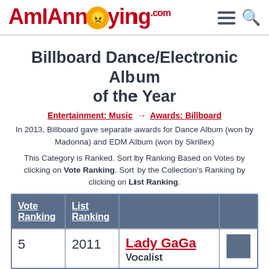AmIAnnoying.com
Billboard Dance/Electronic Album of the Year
Entertainment: Music → Awards: Billboard
In 2013, Billboard gave separate awards for Dance Album (won by Madonna) and EDM Album (won by Skrillex)
This Category is Ranked. Sort by Ranking Based on Votes by clicking on Vote Ranking. Sort by the Collection's Ranking by clicking on List Ranking.
| Vote Ranking | List Ranking |  |  |
| --- | --- | --- | --- |
| 5 | 2011 | Lady GaGa
Vocalist |  |